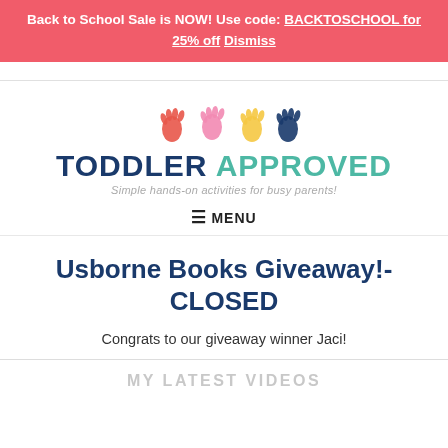Back to School Sale is NOW! Use code: BACKTOSCHOOL for 25% off Dismiss
[Figure (logo): Toddler Approved logo with colorful handprint icons and tagline 'Simple hands-on activities for busy parents!']
≡ MENU
Usborne Books Giveaway!- CLOSED
Congrats to our giveaway winner Jaci!
MY LATEST VIDEOS